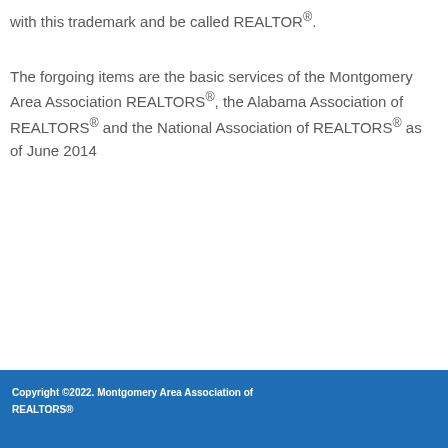with this trademark and be called REALTOR®.
The forgoing items are the basic services of the Montgomery Area Association REALTORS®, the Alabama Association of REALTORS® and the National Association of REALTORS® as of June 2014
Copyright ©2022. Montgomery Area Association of REALTORS®